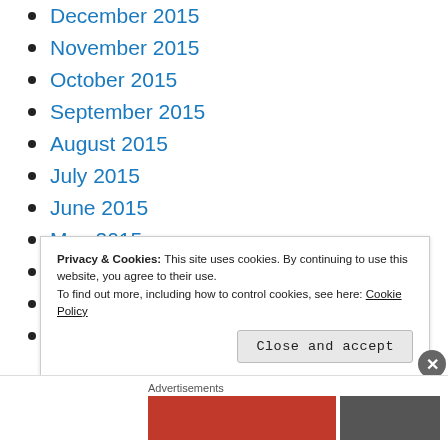December 2015
November 2015
October 2015
September 2015
August 2015
July 2015
June 2015
May 2015
April 2015
March 2015
February 2015
Privacy & Cookies: This site uses cookies. By continuing to use this website, you agree to their use.
To find out more, including how to control cookies, see here: Cookie Policy
Close and accept
Advertisements